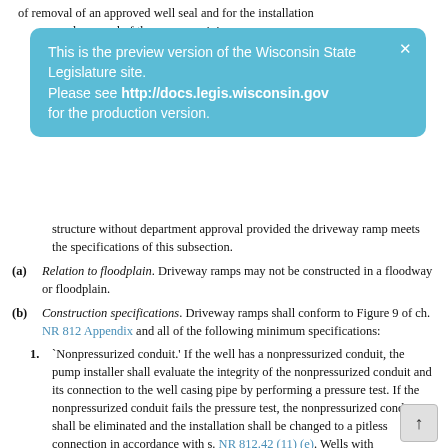of removal of an approved well seal and for the installation and removal of the pump or piping.
[Figure (infographic): Blue popup notification banner: 'This is the preview version of the Wisconsin State Legislature site. Please see http://docs.legis.wisconsin.gov for the production version.' with an X close button in top right corner.]
structure without department approval provided the driveway ramp meets the specifications of this subsection.
(a) Relation to floodplain. Driveway ramps may not be constructed in a floodway or floodplain.
(b) Construction specifications. Driveway ramps shall conform to Figure 9 of ch. NR 812 Appendix and all of the following minimum specifications:
1. `Nonpressurized conduit.' If the well has a nonpressurized conduit, the pump installer shall evaluate the integrity of the nonpressurized conduit and its connection to the well casing pipe by performing a pressure test. If the nonpressurized conduit fails the pressure test, the nonpressurized conduit shall be eliminated and the installation shall be changed to a pitless connection in accordance with s. NR 812.42 (11) (e). Wells with nonpressurized conduits must be vented to the ceiling in the basement and shall have the pump cables enter through a conduit.
2. `Construction.' The top of the well shall be contained within...